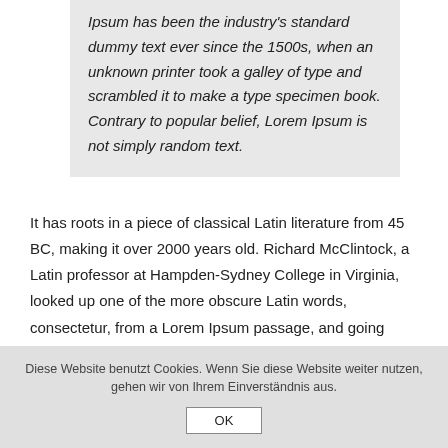Ipsum has been the industry's standard dummy text ever since the 1500s, when an unknown printer took a galley of type and scrambled it to make a type specimen book. Contrary to popular belief, Lorem Ipsum is not simply random text.
It has roots in a piece of classical Latin literature from 45 BC, making it over 2000 years old. Richard McClintock, a Latin professor at Hampden-Sydney College in Virginia, looked up one of the more obscure Latin words, consectetur, from a Lorem Ipsum passage, and going through the cites of the word in classical literature,
Diese Website benutzt Cookies. Wenn Sie diese Website weiter nutzen, gehen wir von Ihrem Einverständnis aus.